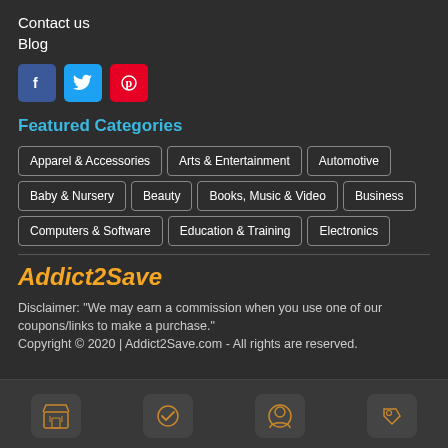Contact us
Blog
[Figure (infographic): Social media icons: Facebook (blue), Twitter (cyan), Pinterest (red)]
Featured Categories
Apparel & Accessories
Arts & Entertainment
Automotive
Baby & Nursery
Beauty
Books, Music & Video
Business
Computers & Software
Education & Training
Electronics
Addict2Save
Disclaimer: "We may earn a commission when you use one of our coupons/links to make a purchase."
Copyright © 2020 | Addict2Save.com - All rights are reserved.
[Figure (infographic): Four icon buttons at the bottom: store/shop icon, checkmark icon, person/user icon, tag/price icon]